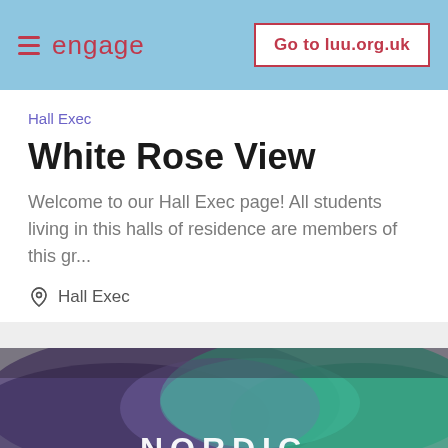engage  Go to luu.org.uk
Hall Exec
White Rose View
Welcome to our Hall Exec page! All students living in this halls of residence are members of this gr...
Hall Exec
[Figure (photo): A painted/brush-stroke artistic image with purple and teal/green colors, overlaid with the text 'NORDIC' in large white capital letters at the bottom.]